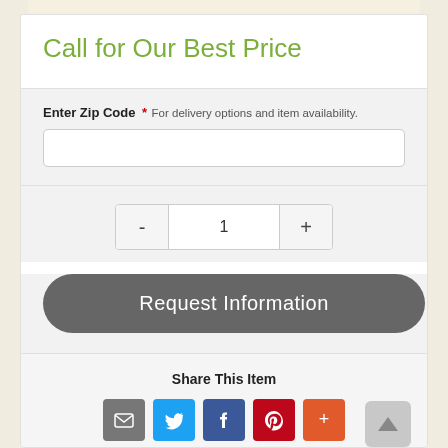Call for Our Best Price
Enter Zip Code *
For delivery options and item availability.
1
Request Information
Share This Item